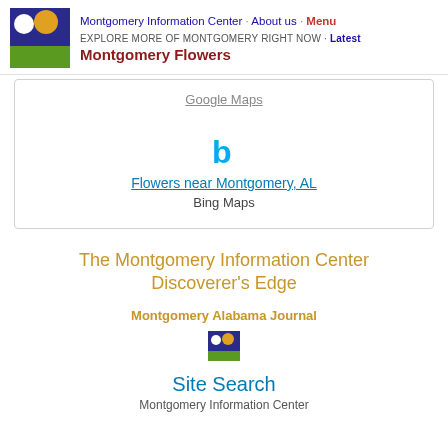Montgomery Information Center · About us · Menu
EXPLORE MORE OF MONTGOMERY RIGHT NOW · Latest
Montgomery Flowers
Google Maps
Flowers near Montgomery, AL
Bing Maps
The Montgomery Information Center
Discoverer's Edge
Montgomery Alabama Journal
[Figure (logo): Montgomery Information Center small logo icon]
Site Search
Montgomery Information Center